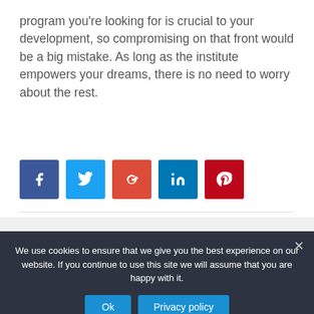program you're looking for is crucial to your development, so compromising on that front would be a big mistake. As long as the institute empowers your dreams, there is no need to worry about the rest.
[Figure (other): Social share buttons: Facebook (blue), Twitter (light blue), Google+ (red-orange), LinkedIn (blue), Pinterest (red)]
We use cookies to ensure that we give you the best experience on our website. If you continue to use this site we will assume that you are happy with it.